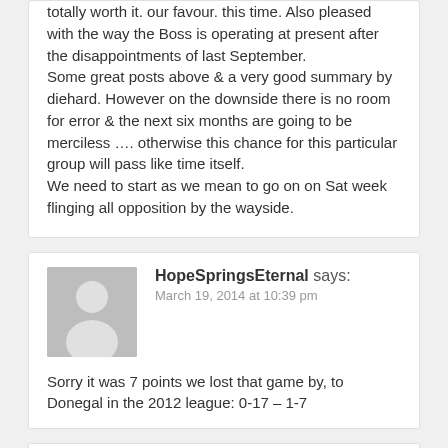totally worth it. our favour. this time. Also pleased with the way the Boss is operating at present after the disappointments of last September. Some great posts above & a very good summary by diehard. However on the downside there is no room for error & the next six months are going to be merciless …. otherwise this chance for this particular group will pass like time itself. We need to start as we mean to go on on Sat week flinging all opposition by the wayside.
HopeSpringsEternal says: March 19, 2014 at 10:39 pm
Sorry it was 7 points we lost that game by, to Donegal in the 2012 league: 0-17 – 1-7
Willie Joe says: